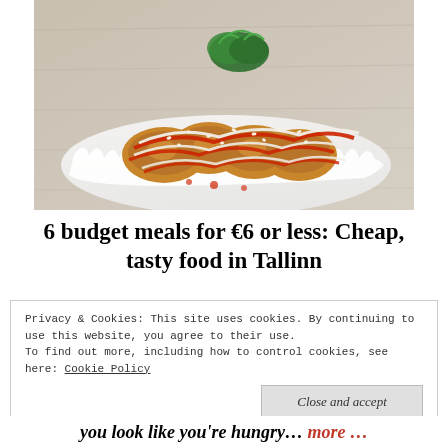[Figure (photo): A plate of crispy fried food (likely chicken or fritters) drizzled with red sauce and white cream sauce, garnished with fresh herbs and sesame seeds, served on white parchment paper on a wooden surface.]
6 budget meals for €6 or less: Cheap, tasty food in Tallinn
Privacy & Cookies: This site uses cookies. By continuing to use this website, you agree to their use.
To find out more, including how to control cookies, see here: Cookie Policy
Close and accept
you look like you're hungry… more ...